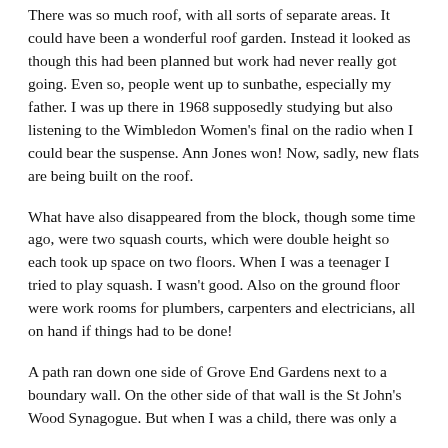There was so much roof, with all sorts of separate areas. It could have been a wonderful roof garden. Instead it looked as though this had been planned but work had never really got going. Even so, people went up to sunbathe, especially my father. I was up there in 1968 supposedly studying but also listening to the Wimbledon Women's final on the radio when I could bear the suspense. Ann Jones won! Now, sadly, new flats are being built on the roof.
What have also disappeared from the block, though some time ago, were two squash courts, which were double height so each took up space on two floors. When I was a teenager I tried to play squash. I wasn't good. Also on the ground floor were work rooms for plumbers, carpenters and electricians, all on hand if things had to be done!
A path ran down one side of Grove End Gardens next to a boundary wall. On the other side of that wall is the St John's Wood Synagogue. But when I was a child, there was only a